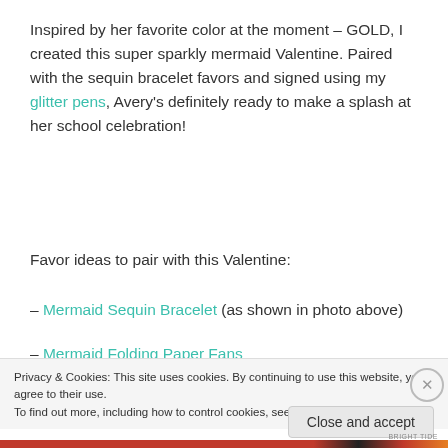Inspired by her favorite color at the moment – GOLD, I created this super sparkly mermaid Valentine. Paired with the sequin bracelet favors and signed using my glitter pens, Avery's definitely ready to make a splash at her school celebration!
Favor ideas to pair with this Valentine:
– Mermaid Sequin Bracelet (as shown in photo above)
– Mermaid Folding Paper Fans
Privacy & Cookies: This site uses cookies. By continuing to use this website, you agree to their use. To find out more, including how to control cookies, see here: Cookie Policy
Close and accept